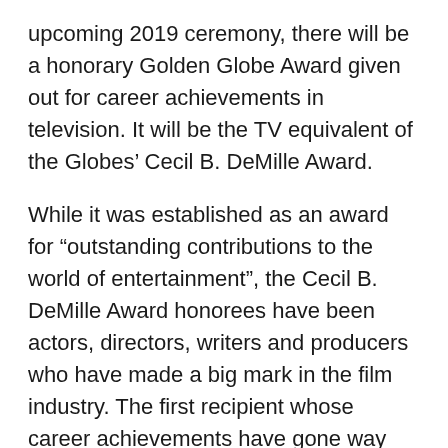upcoming 2019 ceremony, there will be a honorary Golden Globe Award given out for career achievements in television. It will be the TV equivalent of the Globes' Cecil B. DeMille Award.
While it was established as an award for “outstanding contributions to the world of entertainment”, the Cecil B. DeMille Award honorees have been actors, directors, writers and producers who have made a big mark in the film industry. The first recipient whose career achievements have gone way beyond film, crossing over into TV and other media, was Oprah Winfrey this year.
No name for the TV honorary award was given but the HFPA will possibly follow the same path it took with the Cecil B. DeMille honor. It was first presented at the 9th Golden Globe Awards ceremony in 1952 and was named in honor of its first recipient, director